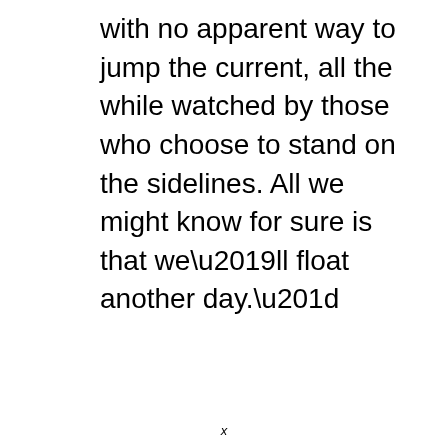with no apparent way to jump the current, all the while watched by those who choose to stand on the sidelines. All we might know for sure is that we’ll float another day.”
x